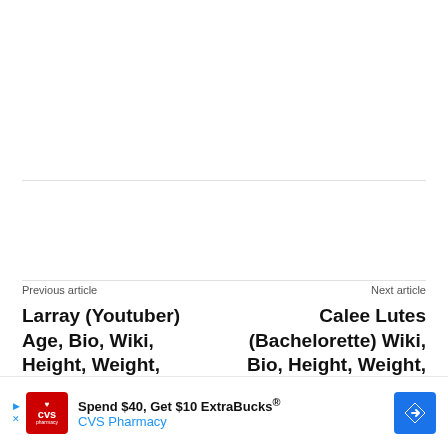Previous article
Larray (Youtuber) Age, Bio, Wiki, Height, Weight, Sexuality, Relationship, Career, Net Worth, Facts
Next article
Calee Lutes (Bachelorette) Wiki, Bio, Height, Weight, Age, Boyfriend, Affairs, Net Worth, Facts
[Figure (other): CVS Pharmacy advertisement banner: Spend $40, Get $10 ExtraBucks®, CVS Pharmacy]